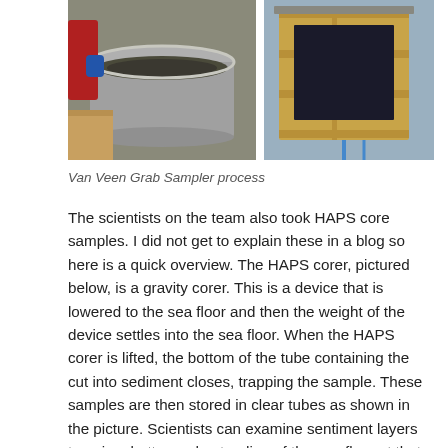[Figure (photo): Two photos side by side: left shows a metal circular Van Veen grab sampler containing dark sediment with a person in red jacket and blue gloves visible; right shows a wooden box-shaped sampler device.]
Van Veen Grab Sampler process
The scientists on the team also took HAPS core samples. I did not get to explain these in a blog so here is a quick overview. The HAPS corer, pictured below, is a gravity corer. This is a device that is lowered to the sea floor and then the weight of the device settles into the sea floor. When the HAPS corer is lifted, the bottom of the tube containing the cut into sediment closes, trapping the sample. These samples are then stored in clear tubes as shown in the picture. Scientists can examine sentiment layers to gain a better understanding of the sea floor at that location by studying the sedimentary layers.